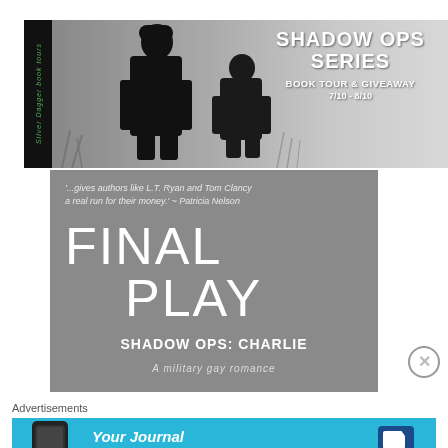[Figure (illustration): Shadow Ops Series Book Tour & Giveaway banner. Shows two military silhouettes against a grey background. Left sidebar has 'Silver Dagger book tours' text vertically. Text reads: SHADOW OPS SERIES, BOOK TOUR & GIVEAWAY, 7/10 - 8/10.]
[Figure (illustration): Final Play book cover/promotional image. Grey background. Quote at top: '...gives authors like L.T. Ryan and Tom Clancy a real run for their money.' - Patricia Nelson. Large text: FINAL PLAY. Below: SHADOW OPS: CHARLIE. A military gay romance.]
Advertisements
[Figure (illustration): Day One app advertisement banner. Blue background. Shows phone mockup on left. Text: Your Journal for life. Day One logo on right.]